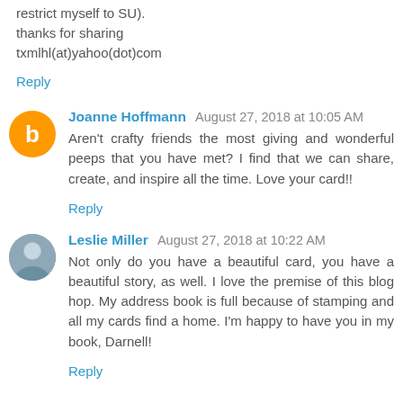restrict myself to SU).
thanks for sharing
txmlhl(at)yahoo(dot)com
Reply
Joanne Hoffmann August 27, 2018 at 10:05 AM
Aren't crafty friends the most giving and wonderful peeps that you have met? I find that we can share, create, and inspire all the time. Love your card!!
Reply
Leslie Miller August 27, 2018 at 10:22 AM
Not only do you have a beautiful card, you have a beautiful story, as well. I love the premise of this blog hop. My address book is full because of stamping and all my cards find a home. I'm happy to have you in my book, Darnell!
Reply